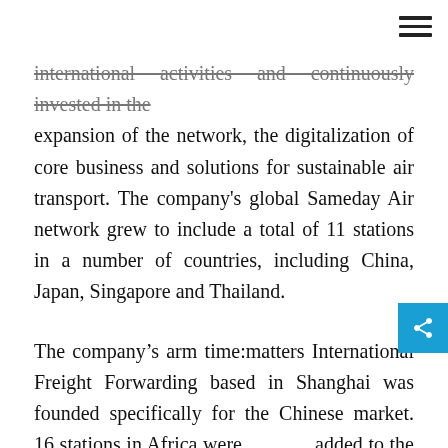international activities and continuously invested in the expansion of the network, the digitalization of core business and solutions for sustainable air transport. The company's global Sameday Air network grew to include a total of 11 stations in a number of countries, including China, Japan, Singapore and Thailand.
The company's arm time:matters International Freight Forwarding based in Shanghai was founded specifically for the Chinese market. 16 stations in Africa were added to the Global Express Airfreight network. time:matters has been flying to these destinations via its new hub in Brussels since August. The services portfolio was expanded in 2019 to include the global